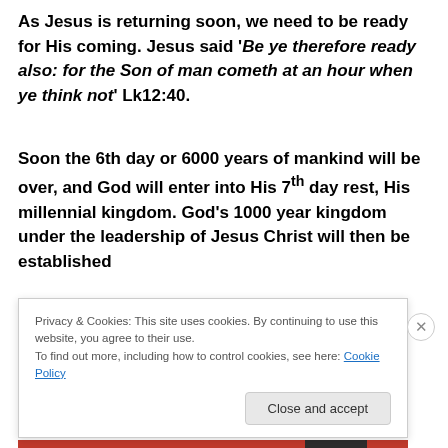As Jesus is returning soon, we need to be ready for His coming. Jesus said 'Be ye therefore ready also: for the Son of man cometh at an hour when ye think not' Lk12:40.
Soon the 6th day or 6000 years of mankind will be over, and God will enter into His 7th day rest, His millennial kingdom. God's 1000 year kingdom under the leadership of Jesus Christ will then be established...
Privacy & Cookies: This site uses cookies. By continuing to use this website, you agree to their use.
To find out more, including how to control cookies, see here: Cookie Policy
Close and accept